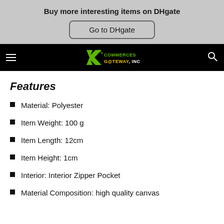Buy more interesting items on DHgate
Go to DHgate
[Figure (logo): Commerces Gateway Inc logo on black navigation bar with hamburger menu and search icon]
Features
Material: Polyester
Item Weight: 100 g
Item Length: 12cm
Item Height: 1cm
Interior: Interior Zipper Pocket
Material Composition: high quality canvas